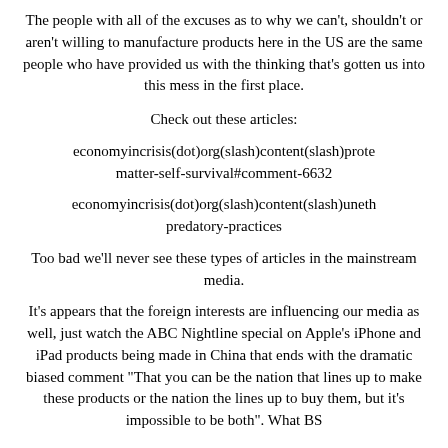The people with all of the excuses as to why we can't, shouldn't or aren't willing to manufacture products here in the US are the same people who have provided us with the thinking that's gotten us into this mess in the first place.
Check out these articles:
economyincrisis(dot)org(slash)content(slash)prote matter-self-survival#comment-6632
economyincrisis(dot)org(slash)content(slash)uneth predatory-practices
Too bad we'll never see these types of articles in the mainstream media.
It's appears that the foreign interests are influencing our media as well, just watch the ABC Nightline special on Apple's iPhone and iPad products being made in China that ends with the dramatic biased comment "That you can be the nation that lines up to make these products or the nation the lines up to buy them, but it's impossible to be both". What BS